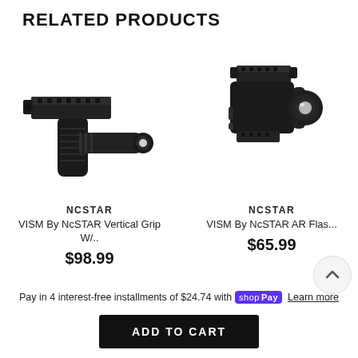RELATED PRODUCTS
[Figure (photo): VISM By NcSTAR Vertical Grip with flashlight attached, black tactical accessory]
NCSTAR
VISM By NcSTAR Vertical Grip W/..
$98.99
[Figure (photo): VISM By NcSTAR AR Flashlight, black tactical light with mount]
NCSTAR
VISM By NcSTAR AR Flas...
$65.99
Pay in 4 interest-free installments of $24.74 with shop Pay Learn more
ADD TO CART